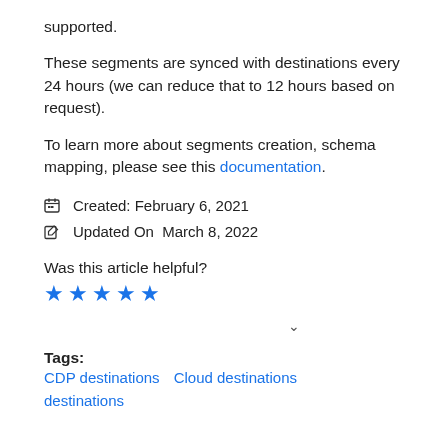supported.
These segments are synced with destinations every 24 hours (we can reduce that to 12 hours based on request).
To learn more about segments creation, schema mapping, please see this documentation.
Created: February 6, 2021
Updated On  March 8, 2022
Was this article helpful?
[Figure (other): Five blue star rating icons]
v (chevron/dropdown icon)
Tags:
CDP destinations   Cloud destinations   destinations